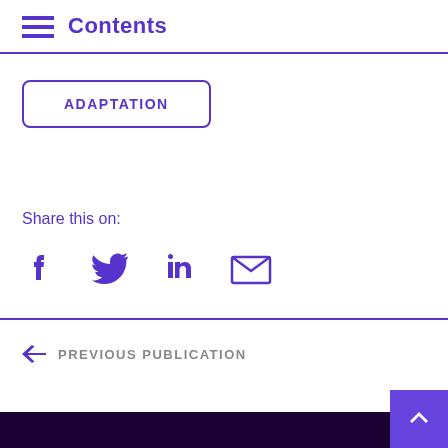Contents
ADAPTATION
Share this on:
[Figure (infographic): Social share icons: Facebook, Twitter, LinkedIn, Email]
PREVIOUS PUBLICATION